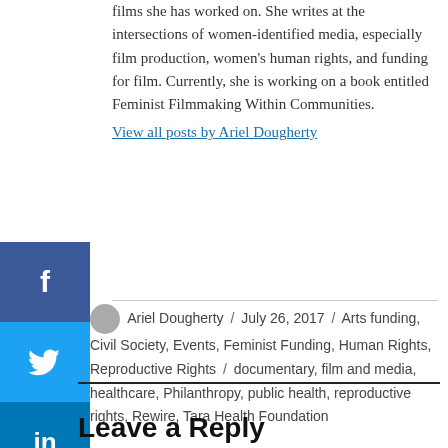films she has worked on. She writes at the intersections of women-identified media, especially film production, women's human rights, and funding for film. Currently, she is working on a book entitled Feminist Filmmaking Within Communities.
View all posts by Ariel Dougherty
Ariel Dougherty / July 26, 2017 / Arts funding, Civil Society, Events, Feminist Funding, Human Rights, Reproductive Rights / documentary, film and media, healthcare, Philanthropy, public health, reproductive rights, Rewire, Tara Health Foundation
Leave a Reply